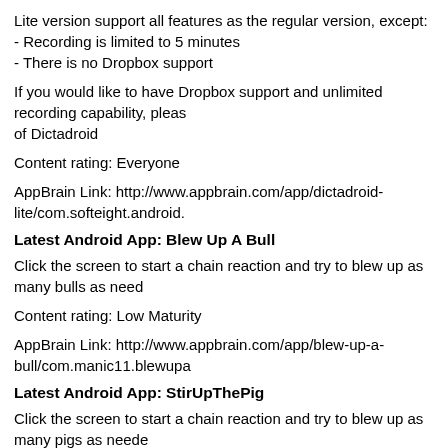Lite version support all features as the regular version, except:
- Recording is limited to 5 minutes
- There is no Dropbox support
If you would like to have Dropbox support and unlimited recording capability, please purchase the full version of Dictadroid
Content rating: Everyone
AppBrain Link: http://www.appbrain.com/app/dictadroid-lite/com.softeight.android.
Latest Android App: Blew Up A Bull
Click the screen to start a chain reaction and try to blew up as many bulls as need
Content rating: Low Maturity
AppBrain Link: http://www.appbrain.com/app/blew-up-a-bull/com.manic11.blewupa
Latest Android App: StirUpThePig
Click the screen to start a chain reaction and try to blew up as many pigs as neede
Content rating: Low Maturity
AppBrain Link: http://www.appbrain.com/app/stirupthepig/com.manic11.stirupthep
Latest Android App: Zinio
Zinio is the premier app for magazines on Android, featuring top titles from around. Zinio, you can browse the world's largest newsstand, download digital subscriptions, magazines and sync your library on multiple devices. You can read what you like w
Features: